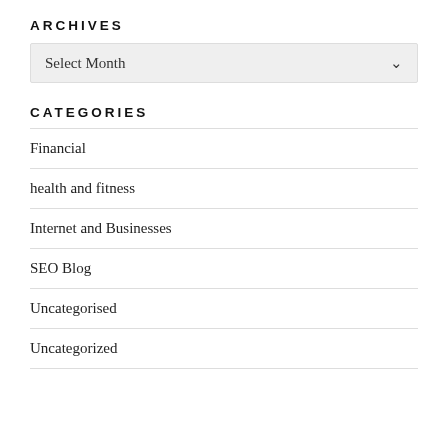ARCHIVES
Select Month
CATEGORIES
Financial
health and fitness
Internet and Businesses
SEO Blog
Uncategorised
Uncategorized